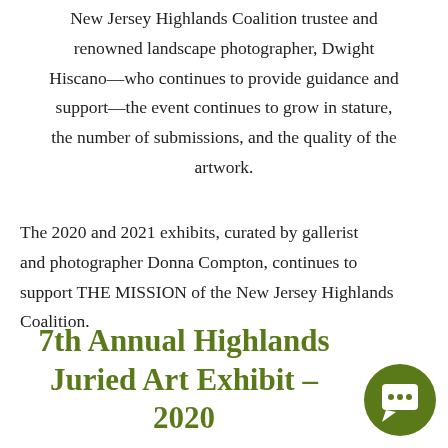New Jersey Highlands Coalition trustee and renowned landscape photographer, Dwight Hiscano—who continues to provide guidance and support—the event continues to grow in stature, the number of submissions, and the quality of the artwork.
The 2020 and 2021 exhibits, curated by gallerist and photographer Donna Compton, continues to support THE MISSION of the New Jersey Highlands Coalition.
7th Annual Highlands Juried Art Exhibit - 2020